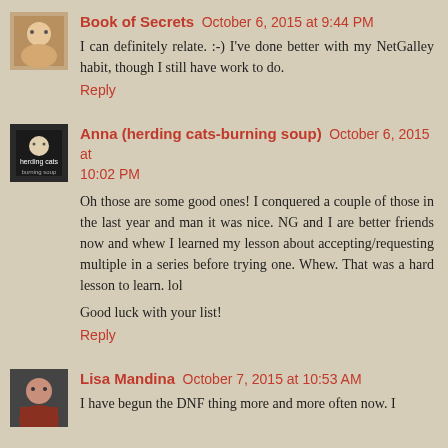[Figure (photo): Avatar image for Book of Secrets commenter]
Book of Secrets October 6, 2015 at 9:44 PM
I can definitely relate. :-) I've done better with my NetGalley habit, though I still have work to do.
Reply
[Figure (photo): Avatar image for Anna (herding cats-burning soup) commenter]
Anna (herding cats-burning soup) October 6, 2015 at 10:02 PM
Oh those are some good ones! I conquered a couple of those in the last year and man it was nice. NG and I are better friends now and whew I learned my lesson about accepting/requesting multiple in a series before trying one. Whew. That was a hard lesson to learn. lol
Good luck with your list!
Reply
[Figure (photo): Avatar image for Lisa Mandina commenter]
Lisa Mandina October 7, 2015 at 10:53 AM
I have begun the DNF thing more and more often now. I